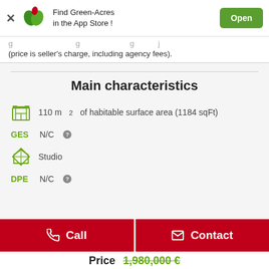[Figure (logo): Green-Acres app store banner with green leaf logo, 'Find Green-Acres in the App Store!' text, and green Open button]
(price is seller's charge, including agency fees).
Main characteristics
110 m² of habitable surface area (1184 sqFt)
GES N/C
Studio
DPE N/C
Price 1,980,000 €